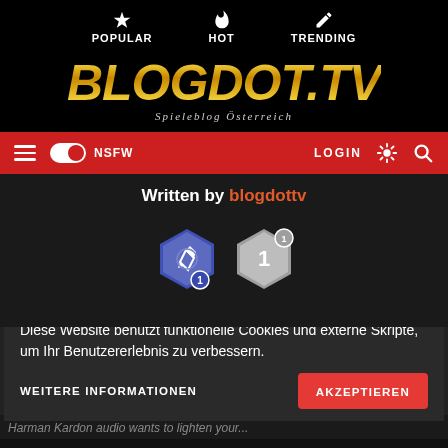POPULAR | HOT | TRENDING
[Figure (logo): BLOGDOT.TV logo with gold gradient text and subtitle 'Spieleblog Österreich']
☰ NSFW toggle | LOGIN | sun icon | search icon
Written by blogdottv
[Figure (illustration): Two hexagonal badge icons: a blue pencil badge with number 1, and a grey badge with number 1]
Diese Website benutzt funktionelle Cookies und externe Skripte, um Ihr Benutzererlebnis zu verbessern.
WEITERE INFORMATIONEN | AKZEPTIEREN